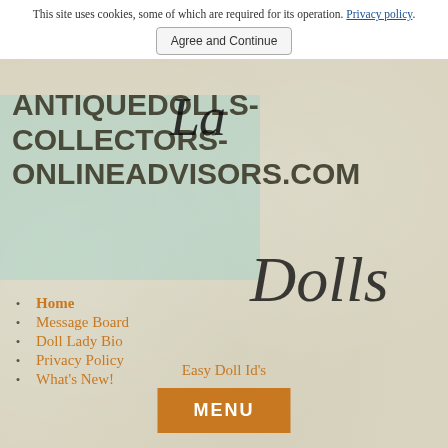This site uses cookies, some of which are required for its operation. Privacy policy.
Agree and Continue
ANTIQUEDOLLS-COLLECTORS-ONLINEADVISORS.COM
Home
Message Board
Doll Lady Bio
Privacy Policy
What's New!
Easy Doll Id's
MENU